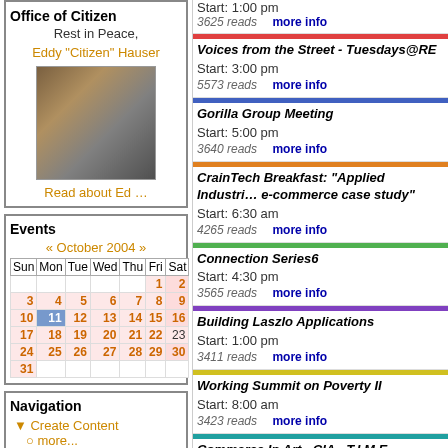Office of Citizen
Rest in Peace,
Eddy "Citizen" Hauser
[Figure (photo): Photo of Eddy Hauser speaking at a microphone]
Read about Ed …
Events
« October 2004 »
| Sun | Mon | Tue | Wed | Thu | Fri | Sat |
| --- | --- | --- | --- | --- | --- | --- |
|  |  |  |  |  | 1 | 2 |
| 3 | 4 | 5 | 6 | 7 | 8 | 9 |
| 10 | 11 | 12 | 13 | 14 | 15 | 16 |
| 17 | 18 | 19 | 20 | 21 | 22 | 23 |
| 24 | 25 | 26 | 27 | 28 | 29 | 30 |
| 31 |  |  |  |  |  |  |
Navigation
Create Content
more...
Recent posts
Start: 1:00 pm
3625 reads   more info
Voices from the Street - Tuesdays@RE
Start: 3:00 pm
5573 reads   more info
Gorilla Group Meeting
Start: 5:00 pm
3640 reads   more info
CrainTech Breakfast: "Applied Industri… e-commerce case study"
Start: 6:30 am
4265 reads   more info
Connection Series6
Start: 4:30 pm
3565 reads   more info
Building Laszlo Applications
Start: 1:00 pm
3411 reads   more info
Working Summit on Poverty II
Start: 8:00 am
3423 reads   more info
Commerce In Art - CIA - T.I.M.E.
Start: 12:30 pm